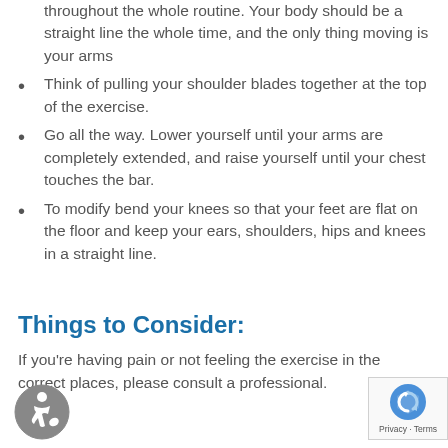throughout the whole routine. Your body should be a straight line the whole time, and the only thing moving is your arms
Think of pulling your shoulder blades together at the top of the exercise.
Go all the way. Lower yourself until your arms are completely extended, and raise yourself until your chest touches the bar.
To modify bend your knees so that your feet are flat on the floor and keep your ears, shoulders, hips and knees in a straight line.
Things to Consider:
If you're having pain or not feeling the exercise in the correct places, please consult a professional.